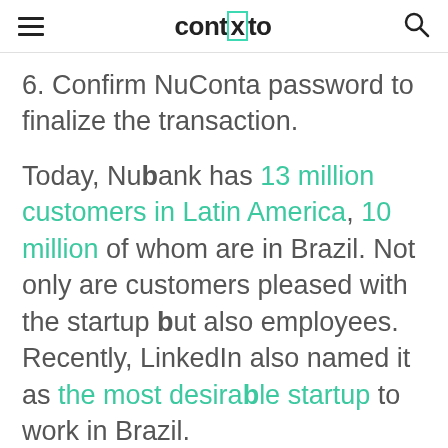contxto
6. Confirm NuConta password to finalize the transaction.
Today, Nubank has 13 million customers in Latin America, 10 million of whom are in Brazil. Not only are customers pleased with the startup but also employees. Recently, LinkedIn also named it as the most desirable startup to work in Brazil.